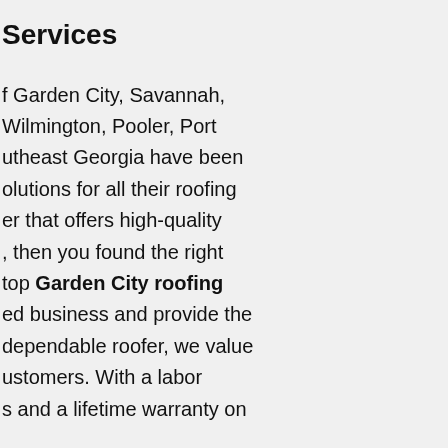Services
f Garden City, Savannah, Wilmington, Pooler, Port utheast Georgia have been olutions for all their roofing er that offers high-quality , then you found the right top Garden City roofing ed business and provide the dependable roofer, we value ustomers. With a labor s and a lifetime warranty on